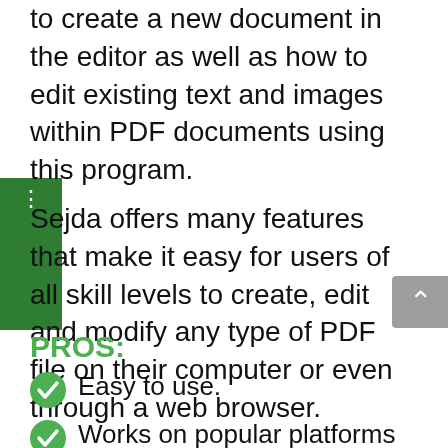to create a new document in the editor as well as how to edit existing text and images within PDF documents using this program.
Sejda offers many features that make it easy for users of all skill levels to create, edit and modify any type of PDF file on their computer or even through a web browser.
PROS:
Easy to use.
Works on popular platforms (Windows, macOS, Linux)
No adding watermark.